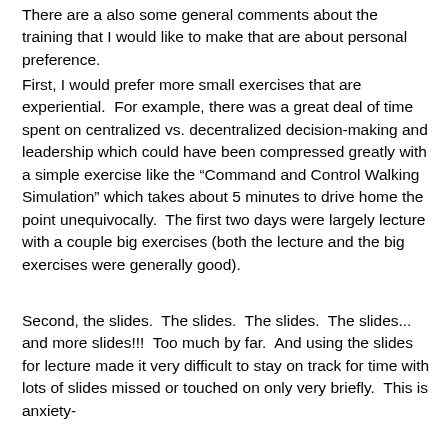There are a also some general comments about the training that I would like to make that are about personal preference.
First, I would prefer more small exercises that are experiential.  For example, there was a great deal of time spent on centralized vs. decentralized decision-making and leadership which could have been compressed greatly with a simple exercise like the “Command and Control Walking Simulation” which takes about 5 minutes to drive home the point unequivocally.  The first two days were largely lecture with a couple big exercises (both the lecture and the big exercises were generally good).
Second, the slides.  The slides.  The slides.  The slides... and more slides!!!  Too much by far.  And using the slides for lecture made it very difficult to stay on track for time with lots of slides missed or touched on only very briefly.  This is anxiety-inducing and leaves the instructor frustrated. Someone would like to